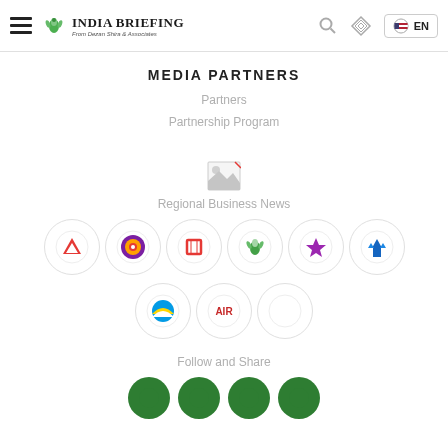India Briefing — From Dezan Shira & Associates
MEDIA PARTNERS
Partners
Partnership Program
[Figure (logo): Broken image placeholder icon]
Regional Business News
[Figure (infographic): Row of 6 circular partner logos: red arrow/triangle logo, colorful circular logo, red bracket/door logo, green peacock logo, purple lotus logo, blue cathedral/spires logo]
[Figure (infographic): Row of 3 circular partner logos: blue sunrise logo, AIR text logo, empty circle]
Follow and Share
[Figure (infographic): Row of green social media circular icons (partially visible at bottom)]